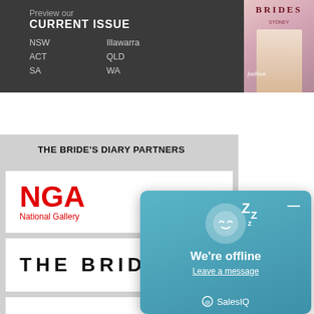Preview our
CURRENT ISSUE
NSW    Illawarra
ACT    QLD
SA    WA
[Figure (photo): Magazine cover for Brides Sydney showing a woman in fashionable white outfit]
THE BRIDE'S DIARY PARTNERS
[Figure (logo): NGA National Gallery logo in red]
[Figure (logo): THE BRID... (The Bride's Diary logo, partially visible)]
[Figure (screenshot): We're offline chat popup with sleeping face emoji and SalesIQ branding. Shows 'We're offline' text and 'Leave a message' link.]